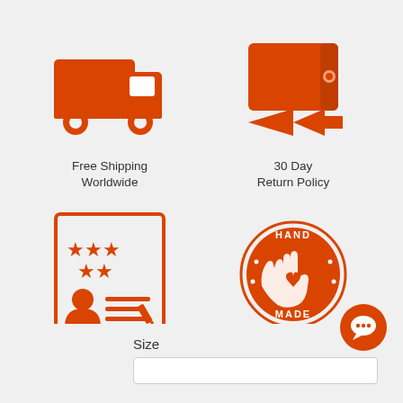[Figure (illustration): Orange delivery truck icon]
Free Shipping
Worldwide
[Figure (illustration): Orange wallet with return arrow icon]
30 Day
Return Policy
[Figure (illustration): Orange review card with 5 stars and person writing icon]
15000
Happy Customers
[Figure (illustration): Orange circular stamp with hands and heart - Handmade label]
Handmade
With Love
Size
[Figure (illustration): Orange chat bubble button in bottom right corner]